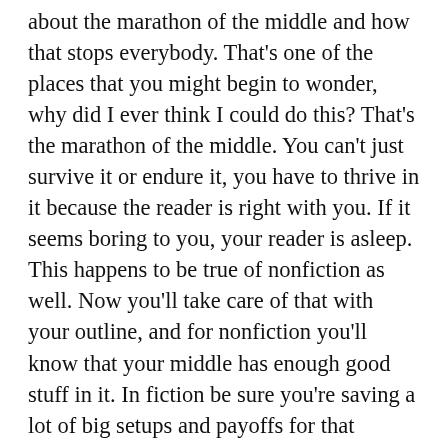about the marathon of the middle and how that stops everybody. That's one of the places that you might begin to wonder, why did I ever think I could do this? That's the marathon of the middle. You can't just survive it or endure it, you have to thrive in it because the reader is right with you. If it seems boring to you, your reader is asleep. This happens to be true of nonfiction as well. Now you'll take care of that with your outline, and for nonfiction you'll know that your middle has enough good stuff in it. In fiction be sure you're saving a lot of big setups and payoffs for that marathon in the middle. You can do the same in nonfiction. In fiction you don't have the same number of elements as far as tension and conflict and dialogue. You still need to put in the payoffs